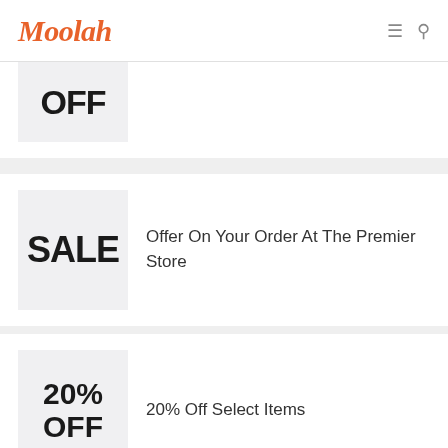Moolah
[Figure (other): Partial coupon card showing 'OFF' text cut off at top]
[Figure (other): Coupon card with 'SALE' thumbnail and text 'Offer On Your Order At The Premier Store']
Offer On Your Order At The Premier Store
[Figure (other): Coupon card with '20% OFF' thumbnail and text '20% Off Select Items']
20% Off Select Items